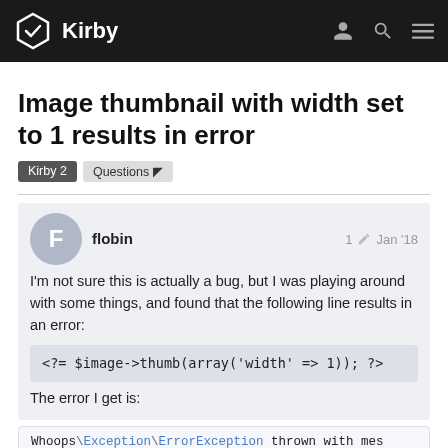Kirby
Image thumbnail with width set to 1 results in error
Kirby 2
Questions
flobin  1  Jan '18
I'm not sure this is actually a bug, but I was playing around with some things, and found that the following line results in an error:
The error I get is:
Whoops\Exception\ErrorException thrown with mes
Stacktrace:
1 / 6